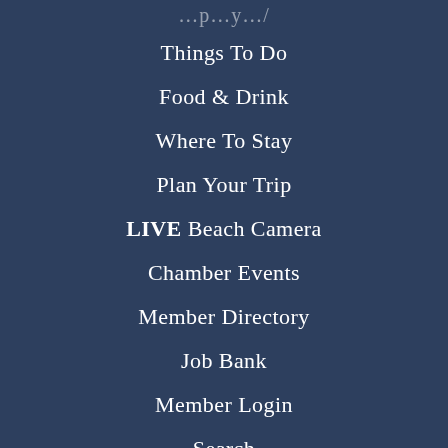Things To Do
Food & Drink
Where To Stay
Plan Your Trip
LIVE Beach Camera
Chamber Events
Member Directory
Job Bank
Member Login
Search
Privacy Poli…